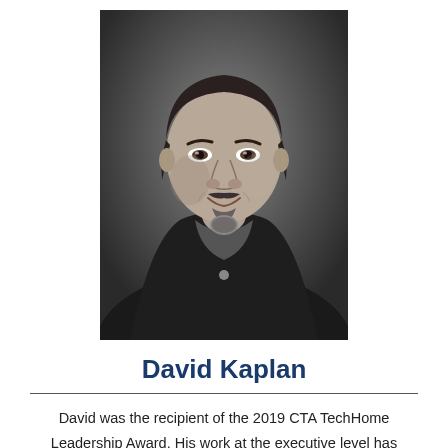[Figure (photo): Black and white professional headshot portrait of David Kaplan, a middle-aged man with dark hair and a goatee, wearing a dark blazer over a collared shirt, photographed against a dark studio background.]
David Kaplan
David was the recipient of the 2019 CTA TechHome Leadership Award. His work at the executive level has involved the complete